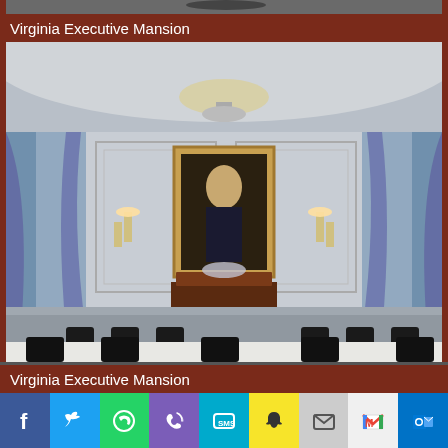[Figure (photo): Partial top strip of a photo showing ceiling/fan area of Virginia Executive Mansion]
Virginia Executive Mansion
[Figure (photo): Interior dining room of Virginia Executive Mansion showing a formal dining table with chairs, a portrait painting on the wall, chandeliers, wall sconces, and draped windows]
Virginia Executive Mansion
[Figure (infographic): Social sharing bar with icons for Facebook, Twitter, WhatsApp, Phone, SMS, Snapchat, Email, Gmail, and Outlook]